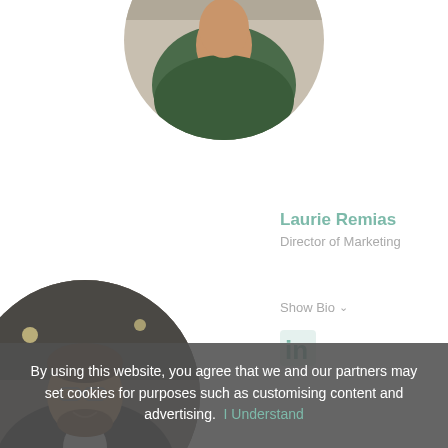[Figure (photo): Circular cropped photo of a person wearing a green top with pink scarf/tie, photographed in what appears to be a warehouse or industrial setting, upper body visible]
Laurie Remias
Director of Marketing
Show Bio
[Figure (logo): LinkedIn 'in' logo icon in teal/green color]
[Figure (photo): Circular cropped photo of a man with glasses and a beard wearing a dark blazer over a white shirt, smiling, photographed in what appears to be an auto garage or workshop setting]
By using this website, you agree that we and our partners may set cookies for purposes such as customising content and advertising.  I Understand